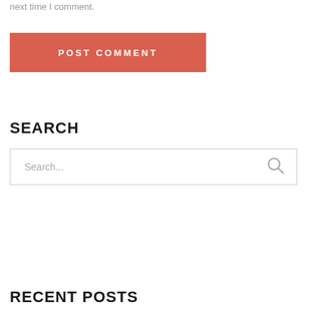next time I comment.
[Figure (other): POST COMMENT button — a red/coral rectangle with white uppercase bold letter-spaced text 'POST COMMENT']
SEARCH
[Figure (other): Search input box with placeholder text 'Search...' and a magnifying glass icon on the right]
RECENT POSTS